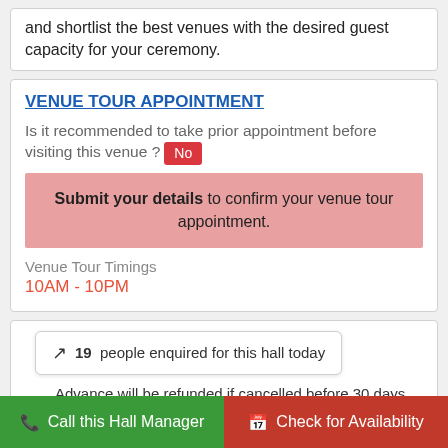You can check its map location also here. Go ahead and shortlist the best venues with the desired guest capacity for your ceremony.
VENUE TOUR APPOINTMENT
Is it recommended to take prior appointment before visiting this venue ? No
Submit your details to confirm your venue tour appointment.
Venue Tour Timings
10AM - 10PM
19 people enquired for this hall today
Advance will be refunded if cancelled before 30 days